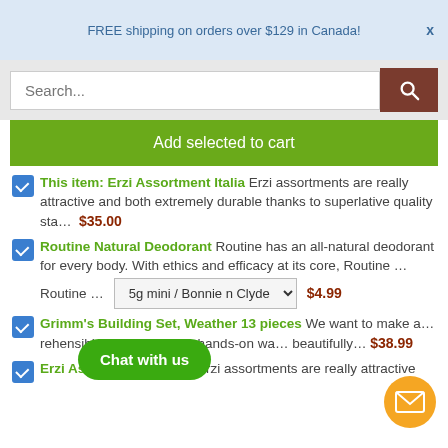FREE shipping on orders over $129 in Canada!
Search...
Add selected to cart
This item: Erzi Assortment Italia Erzi assortments are really attractive and both extremely durable thanks to superlative quality sta... $35.00
Routine Natural Deodorant Routine has an all-natural deodorant for every body. With ethics and efficacy at its core, Routine ... 5g mini / Bonnie n Clyde $4.99
Grimm's Building Set, Weather 13 pieces We want to make a... rehensible to children in a hands-on wa... beautifully... $38.99
Erzi Assorted Sausages Erzi assortments are really attractive